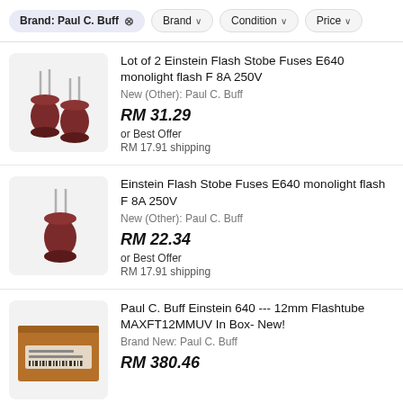Brand: Paul C. Buff ✕  Brand ∨  Condition ∨  Price ∨
Lot of 2 Einstein Flash Stobe Fuses E640 monolight flash F 8A 250V
New (Other): Paul C. Buff
RM 31.29
or Best Offer
RM 17.91 shipping
Einstein Flash Stobe Fuses E640 monolight flash F 8A 250V
New (Other): Paul C. Buff
RM 22.34
or Best Offer
RM 17.91 shipping
Paul C. Buff Einstein 640 --- 12mm Flashtube MAXFT12MMUV In Box- New!
Brand New: Paul C. Buff
RM 380.46